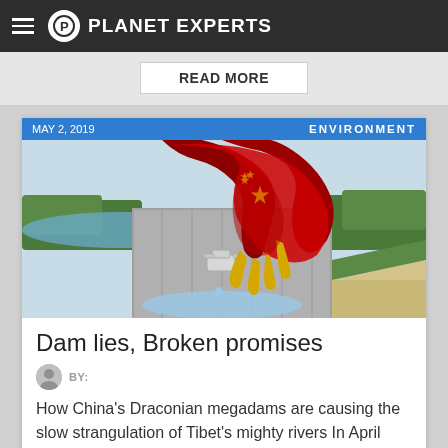PLANET EXPERTS
READ MORE
[Figure (screenshot): Article card screenshot from Planet Experts website. Blue header bar showing 'MAY 2, 2019' and 'ENVIRONMENT'. Below is an illustration of a dragon's claw decorated with the Chinese flag (red with yellow stars) gripping a dam wall that has a water faucet installed in it, with water dripping out into a trickle below. The scene shows a river/reservoir landscape.]
Dam lies, Broken promises
BY:
How China's Draconian megadams are causing the slow strangulation of Tibet's mighty rivers In April 2019, a colossal new